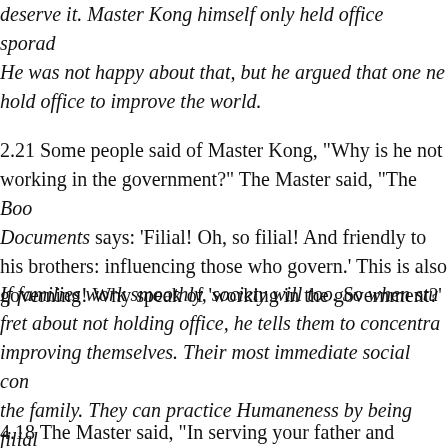deserve it. Master Kong himself only held office sporadically. He was not happy about that, but he argued that one need not hold office to improve the world.
2.21 Some people said of Master Kong, “Why is he not working in the government?” The Master said, “The Book of Documents says: ‘Filial! Oh, so filial! And friendly to his brothers: influencing those who govern.’ This is also governing! Why speak of ‘working in the government?’”
If families work smoothly, society will too. So when students fret about not holding office, he tells them to concentrate on improving themselves. Their most immediate social context is the family. They can practice Humaneness by being filial…
4.18 The Master said, “In serving your father and mother…